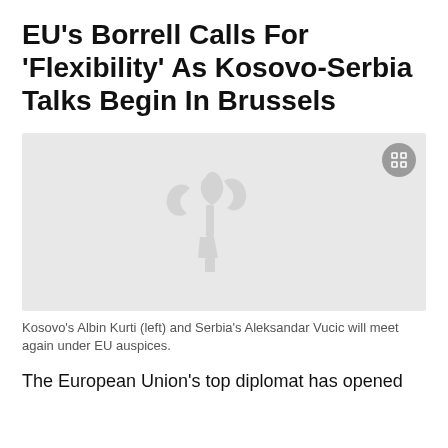EU's Borrell Calls For 'Flexibility' As Kosovo-Serbia Talks Begin In Brussels
[Figure (photo): Placeholder image with a watermark logo; represents a photo of Kosovo's Albin Kurti and Serbia's Aleksandar Vucic]
Kosovo's Albin Kurti (left) and Serbia's Aleksandar Vucic will meet again under EU auspices.
The European Union's top diplomat has opened